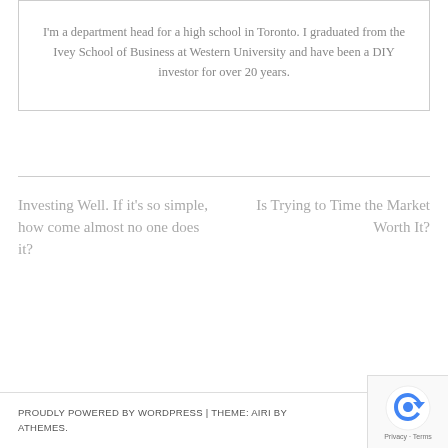I'm a department head for a high school in Toronto. I graduated from the Ivey School of Business at Western University and have been a DIY investor for over 20 years.
Investing Well. If it's so simple, how come almost no one does it?
Is Trying to Time the Market Worth It?
PROUDLY POWERED BY WORDPRESS | THEME: AIRI BY ATHEMES.